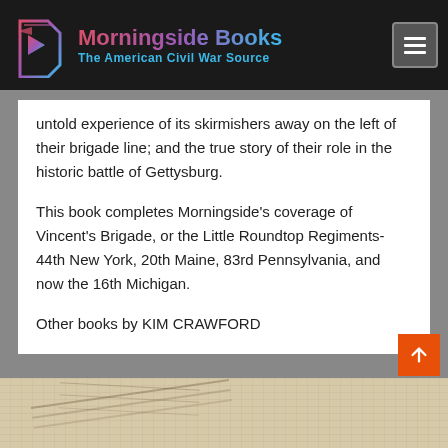Morningside Books — The American Civil War Source
untold experience of its skirmishers away on the left of their brigade line; and the true story of their role in the historic battle of Gettysburg.
This book completes Morningside's coverage of Vincent's Brigade, or the Little Roundtop Regiments-44th New York, 20th Maine, 83rd Pennsylvania, and now the 16th Michigan.
Other books by KIM CRAWFORD
[Figure (map): Partial view of a historical Civil War battle map at the bottom of the page, showing terrain and troop positions in a sepia/tan color scheme.]